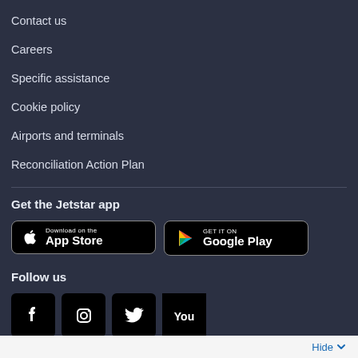Contact us
Careers
Specific assistance
Cookie policy
Airports and terminals
Reconciliation Action Plan
Get the Jetstar app
[Figure (screenshot): App Store download button (black with Apple logo, 'Download on the App Store')]
[Figure (screenshot): Google Play download button (black with Play logo, 'GET IT ON Google Play')]
Follow us
[Figure (screenshot): Social media icons: Facebook, Instagram, Twitter/X, YouTube — partially visible at bottom]
Hide